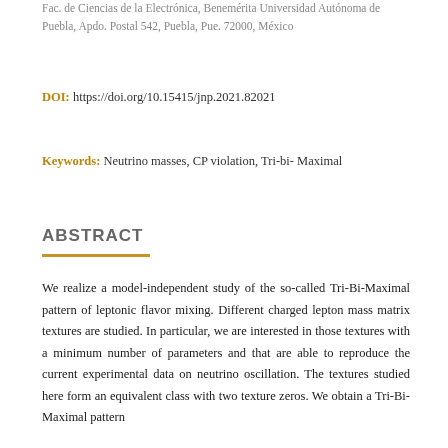Fac. de Ciencias de la Electrónica, Benemérita Universidad Autónoma de Puebla, Apdo. Postal 542, Puebla, Pue. 72000, México
DOI: https://doi.org/10.15415/jnp.2021.82021
Keywords: Neutrino masses, CP violation, Tri-bi- Maximal
ABSTRACT
We realize a model-independent study of the so-called Tri-Bi-Maximal pattern of leptonic flavor mixing. Different charged lepton mass matrix textures are studied. In particular, we are interested in those textures with a minimum number of parameters and that are able to reproduce the current experimental data on neutrino oscillation. The textures studied here form an equivalent class with two texture zeros. We obtain a Tri-Bi-Maximal pattern